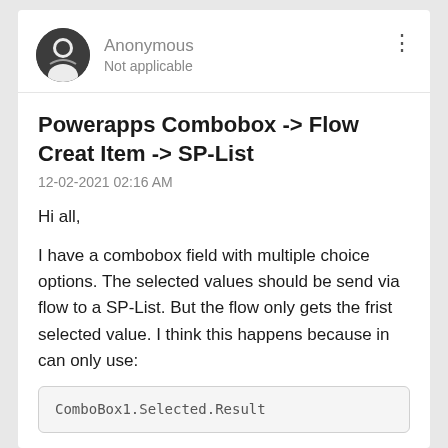[Figure (illustration): Anonymous user avatar - dark circular icon with a stylized face/ghost symbol]
Anonymous
Not applicable
Powerapps Combobox -> Flow Creat Item -> SP-List
12-02-2021 02:16 AM
Hi all,
I have a combobox field with multiple choice options. The selected values should be send via flow to a SP-List. But the flow only gets the frist selected value. I think this happens because in can only use:
I get red underlining when I use: